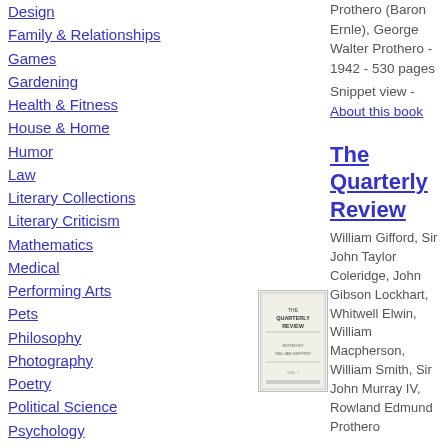Design
Family & Relationships
Games
Gardening
Health & Fitness
House & Home
Humor
Law
Literary Collections
Literary Criticism
Mathematics
Medical
Performing Arts
Pets
Philosophy
Photography
Poetry
Political Science
Psychology
Religion
Self-Help
Social Science
Prothero (Baron Ernle), George Walter Prothero - 1942 - 530 pages
Snippet view - About this book
The Quarterly Review
William Gifford, Sir John Taylor Coleridge, John Gibson Lockhart, Whitwell Elwin, William Macpherson, William Smith, Sir John Murray IV, Rowland Edmund Prothero